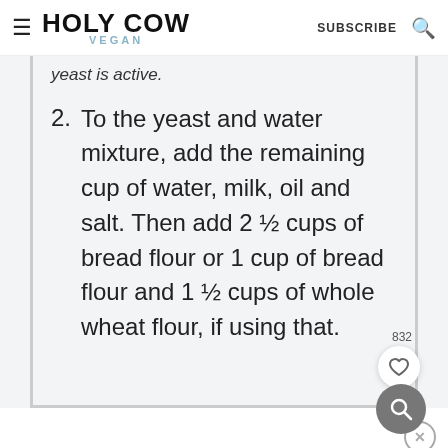Holy Cow Vegan — SUBSCRIBE
yeast is active.
2. To the yeast and water mixture, add the remaining cup of water, milk, oil and salt. Then add 2 ½ cups of bread flour or 1 cup of bread flour and 1 ½ cups of whole wheat flour, if using that.